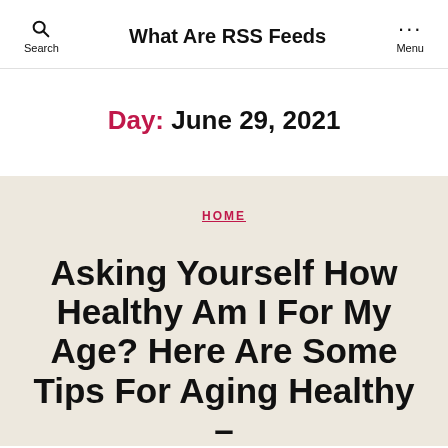What Are RSS Feeds
Day: June 29, 2021
HOME
Asking Yourself How Healthy Am I For My Age? Here Are Some Tips For Aging Healthy – Biology of Aging